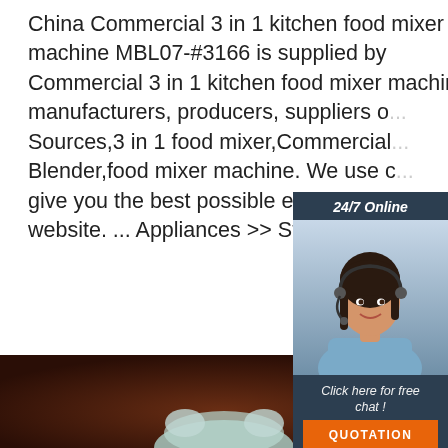China Commercial 3 in 1 kitchen food mixer machine MBL07-#3166 is supplied by Commercial 3 in 1 kitchen food mixer machine manufacturers, producers, suppliers o... Sources,3 in 1 food mixer,Commercial... Blender,food mixer machine. We use c... give you the best possible experience ... website. ... Appliances >> Stand mixer...
[Figure (infographic): Chat widget with woman wearing headset, dark blue background, '24/7 Online' header, 'Click here for free chat!' text, and orange 'QUOTATION' button]
[Figure (photo): Orange 'Get Price' button on left side]
[Figure (photo): Dark brown background product image at bottom showing a kitchen mixer appliance, with orange 'TOP' badge in upper right]